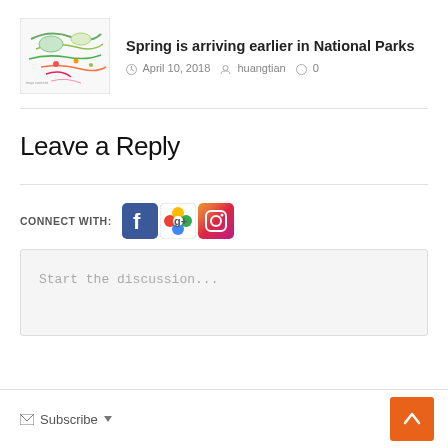[Figure (illustration): Thumbnail image of a map showing national parks with colorful markings]
Spring is arriving earlier in National Parks
April 10, 2018  huangtian  0
Leave a Reply
CONNECT WITH:
[Figure (logo): Social media icons: Facebook, Google+, Instagram]
Start the discussion...
Subscribe